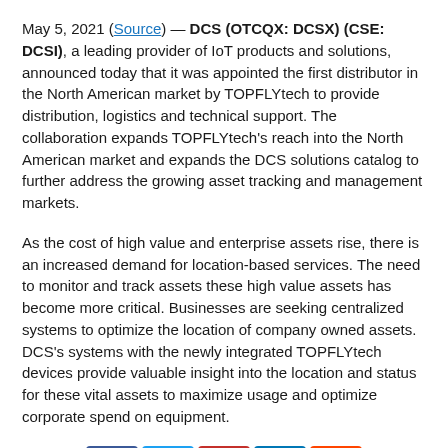May 5, 2021 (Source) — DCS (OTCQX: DCSX) (CSE: DCSI), a leading provider of IoT products and solutions, announced today that it was appointed the first distributor in the North American market by TOPFLYtech to provide distribution, logistics and technical support. The collaboration expands TOPFLYtech's reach into the North American market and expands the DCS solutions catalog to further address the growing asset tracking and management markets.
As the cost of high value and enterprise assets rise, there is an increased demand for location-based services. The need to monitor and track assets these high value assets has become more critical. Businesses are seeking centralized systems to optimize the location of company owned assets. DCS's systems with the newly integrated TOPFLYtech devices provide valuable insight into the location and status for these vital assets to maximize usage and optimize corporate spend on equipment.
[Figure (infographic): Social media share icons: Facebook, Twitter, YouTube, LinkedIn, Reddit]